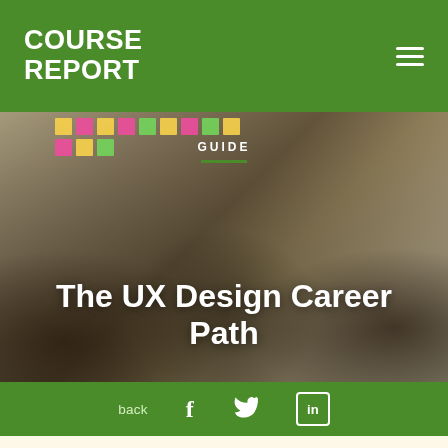COURSE REPORT
[Figure (photo): Three women having a meeting around a table with sticky notes on a whiteboard in the background. Text overlays: GUIDE and The UX Design Career Path.]
The UX Design Career Path
back
By Jess Feldman
Last Updated September 1, 2021
[Figure (illustration): Purple illustration with abstract UX design shapes and curves.]